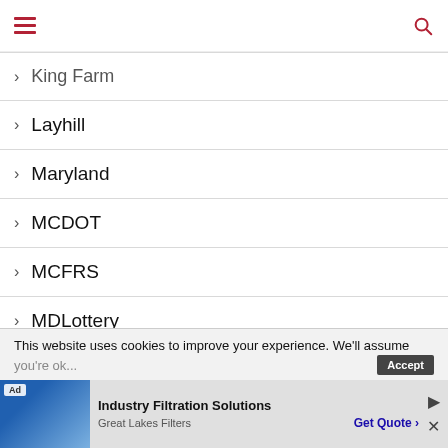Navigation menu with hamburger icon and search icon
King Farm
Layhill
Maryland
MCDOT
MCFRS
MDLottery
Memorial
This website uses cookies to improve your experience. We'll assume you're ok with this, but you can opt-out if you wish. Accept
[Figure (other): Advertisement banner for Industry Filtration Solutions by Great Lakes Filters with Get Quote button]